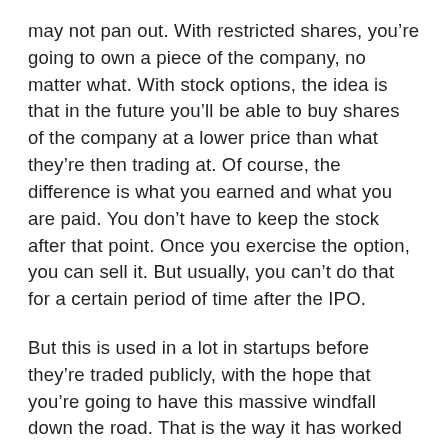may not pan out. With restricted shares, you're going to own a piece of the company, no matter what. With stock options, the idea is that in the future you'll be able to buy shares of the company at a lower price than what they're then trading at. Of course, the difference is what you earned and what you are paid. You don't have to keep the stock after that point. Once you exercise the option, you can sell it. But usually, you can't do that for a certain period of time after the IPO.
But this is used in a lot in startups before they're traded publicly, with the hope that you're going to have this massive windfall down the road. That is the way it has worked out a lot in the Bay Area for a lot of these tech workers. They become millionaires when their company goes public and they get to exercise their stock options and make all kinds of money.